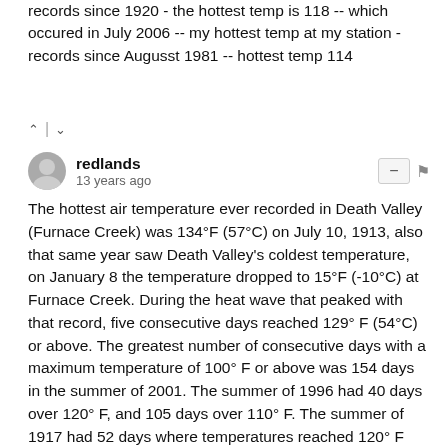records since 1920 - the hottest temp is 118 -- which occured in July 2006 -- my hottest temp at my station - records since Augusst 1981 -- hottest temp 114
^ | v
redlands
13 years ago
The hottest air temperature ever recorded in Death Valley (Furnace Creek) was 134°F (57°C) on July 10, 1913, also that same year saw Death Valley's coldest temperature, on January 8 the temperature dropped to 15°F (-10°C) at Furnace Creek. During the heat wave that peaked with that record, five consecutive days reached 129° F (54°C) or above. The greatest number of consecutive days with a maximum temperature of 100° F or above was 154 days in the summer of 2001. The summer of 1996 had 40 days over 120° F, and 105 days over 110° F. The summer of 1917 had 52 days where temperatures reached 120° F (49°C) or above with 43 of them consecutive. Four major mountain ranges lie between Death Valley and the ocean, each one adding to an increasingly drier rainshadow effect, and in 1929 and 1953 no rain was recorded for the whole year. [7] The period from